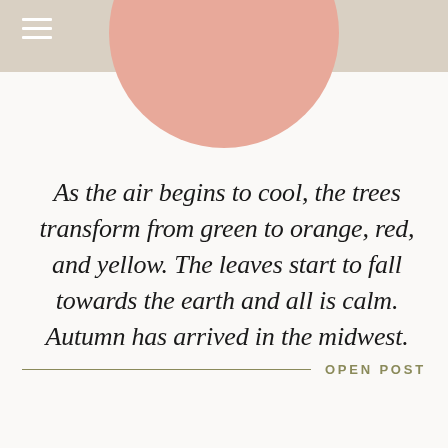[Figure (illustration): Salmon/dusty pink semicircle decorative element at top center, partially cropped by the header bar]
As the air begins to cool, the trees transform from green to orange, red, and yellow. The leaves start to fall towards the earth and all is calm. Autumn has arrived in the midwest.
OPEN POST